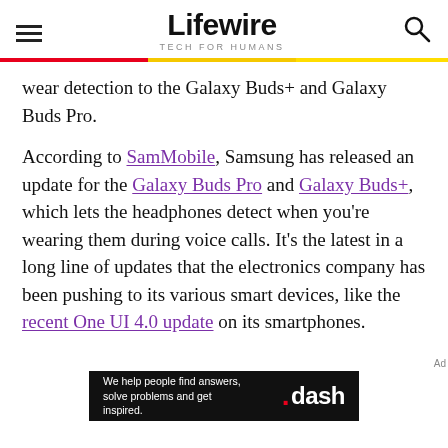Lifewire — TECH FOR HUMANS
wear detection to the Galaxy Buds+ and Galaxy Buds Pro.

According to SamMobile, Samsung has released an update for the Galaxy Buds Pro and Galaxy Buds+, which lets the headphones detect when you're wearing them during voice calls. It's the latest in a long line of updates that the electronics company has been pushing to its various smart devices, like the recent One UI 4.0 update on its smartphones.
[Figure (other): Advertisement banner for .dash with text: We help people find answers, solve problems and get inspired.]